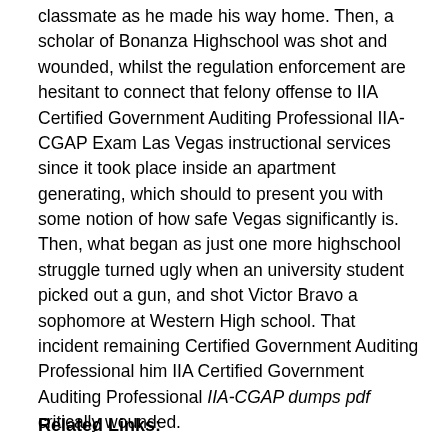classmate as he made his way home. Then, a scholar of Bonanza Highschool was shot and wounded, whilst the regulation enforcement are hesitant to connect that felony offense to IIA Certified Government Auditing Professional IIA-CGAP Exam Las Vegas instructional services since it took place inside an apartment generating, which should to present you with some notion of how safe Vegas significantly is. Then, what began as just one more highschool struggle turned ugly when an university student picked out a gun, and shot Victor Bravo a sophomore at Western High school. That incident remaining Certified Government Auditing Professional him IIA Certified Government Auditing Professional IIA-CGAP dumps pdf critically wounded.
Related Links: